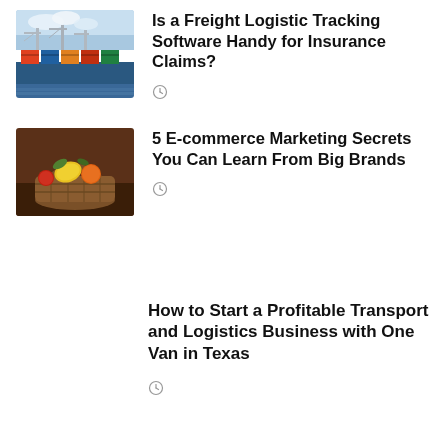[Figure (photo): Cargo ship with cranes at a shipping port]
Is a Freight Logistic Tracking Software Handy for Insurance Claims?
[Figure (photo): Basket of vegetables and fruits on a wooden table]
5 E-commerce Marketing Secrets You Can Learn From Big Brands
How to Start a Profitable Transport and Logistics Business with One Van in Texas